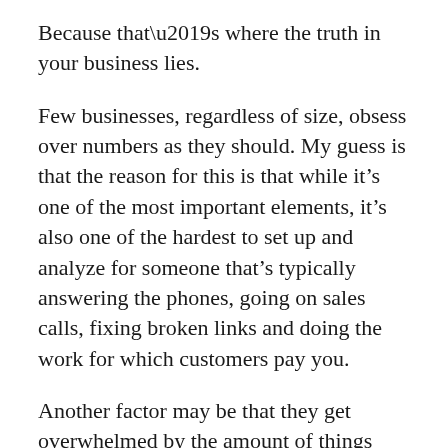Because that’s where the truth in your business lies.
Few businesses, regardless of size, obsess over numbers as they should. My guess is that the reason for this is that while it’s one of the most important elements, it’s also one of the hardest to set up and analyze for someone that’s typically answering the phones, going on sales calls, fixing broken links and doing the work for which customers pay you.
Another factor may be that they get overwhelmed by the amount of things you can track. When it comes to analytics what to track is simple – track what matters most.